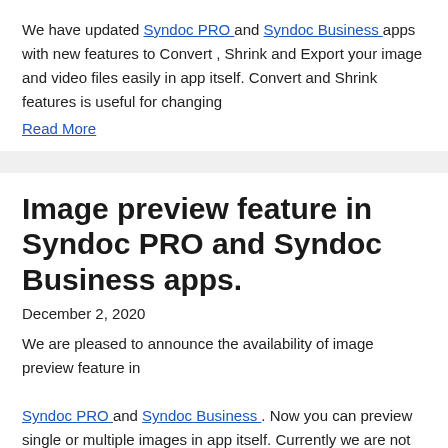We have updated Syndoc PRO and Syndoc Business apps with new features to Convert , Shrink and Export your image and video files easily in app itself. Convert and Shrink features is useful for changing
Read More
Image preview feature in Syndoc PRO and Syndoc Business apps.
December 2, 2020
We are pleased to announce the availability of image preview feature in Syndoc PRO and Syndoc Business . Now you can preview single or multiple images in app itself. Currently we are not supporting image
Read More